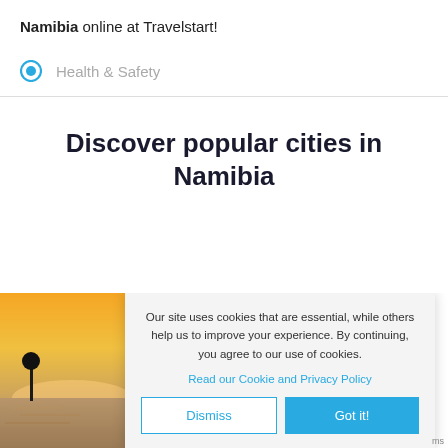Namibia online at Travelstart!
Health & Safety
Discover popular cities in Namibia
[Figure (photo): Sunset photo showing a landscape with water and a silhouetted tree]
Our site uses cookies that are essential, while others help us to improve your experience. By continuing, you agree to our use of cookies.
Read our Cookie and Privacy Policy
Dismiss
Got it!